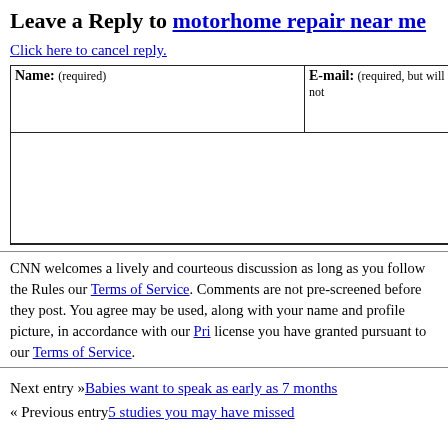Leave a Reply to motorhome repair near me
Click here to cancel reply.
| Name: (required) | E-mail: (required, but will not …) |
| --- | --- |
|  |  |
CNN welcomes a lively and courteous discussion as long as you follow the Rules our Terms of Service. Comments are not pre-screened before they post. You agree may be used, along with your name and profile picture, in accordance with our Pri license you have granted pursuant to our Terms of Service.
Next entry »Babies want to speak as early as 7 months
« Previous entry5 studies you may have missed